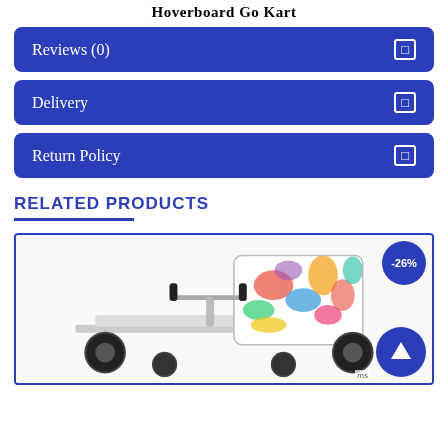Hoverboard Go Kart
Reviews (0)
Delivery
Return Policy
RELATED PRODUCTS
[Figure (photo): A hoverboard go kart product image showing a colorful graffiti-patterned seat kart with a -26% discount badge and an up arrow navigation button overlay]